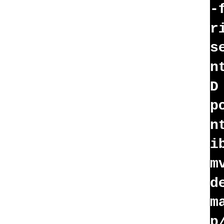-fPIC -march=x86-64 -mtune=generic -gdwarf-4 -fno-debug-types-section -fvar-tracking-assignments -g2 -MT control_remap.po -MD -MP -MF .deps/control_remap.Tpo -c ../../.././src/control_remap.c -fPIC -DPIC -o .libs/control_remap.o
mv -f .deps/control_remap.Tpo .deps/control_remap.Plo
make[2]: Leaving directory '/tmp/B.c69i40ic/BUILD/alsa-lib-2.7.1/build-shared/src/control'
make[2]: Entering directory '/tmp/B.c69i40ic/BUILD/alsa-lib-2.7.1/build-shared/src/control'
/bin/sh ../../libtool --tag=CC --mode=link x86_64-pld-linux-gcc -c -O2 -fwrapv -pipe -Wformat -Werror=format-security -gdwarf-4 -fno-debug-types-section -fvar-tracking-assignments -g2 -D_FORTIFY_SOURCE=2 -fstack-